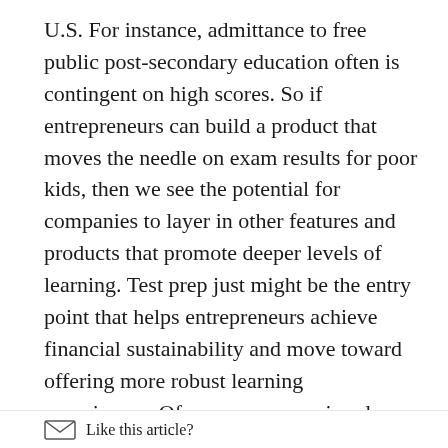U.S. For instance, admittance to free public post-secondary education often is contingent on high scores. So if entrepreneurs can build a product that moves the needle on exam results for poor kids, then we see the potential for companies to layer in other features and products that promote deeper levels of learning. Test prep just might be the entry point that helps entrepreneurs achieve financial sustainability and move toward offering more robust learning experiences. Of course, companies also have to build strong relationships with teachers, schools and governments to gain traction and trust.

Take the cases of GAL&LEO, Educatina and Open Green Road, three innovative Latin American companies. Both started by offering test prep
Like this article?